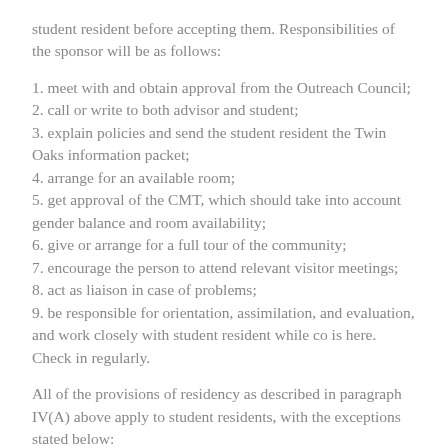student resident before accepting them. Responsibilities of the sponsor will be as follows:
1. meet with and obtain approval from the Outreach Council;
2. call or write to both advisor and student;
3. explain policies and send the student resident the Twin Oaks information packet;
4. arrange for an available room;
5. get approval of the CMT, which should take into account gender balance and room availability;
6. give or arrange for a full tour of the community;
7. encourage the person to attend relevant visitor meetings;
8. act as liaison in case of problems;
9. be responsible for orientation, assimilation, and evaluation, and work closely with student resident while co is here. Check in regularly.
All of the provisions of residency as described in paragraph IV(A) above apply to student residents, with the exceptions stated below: